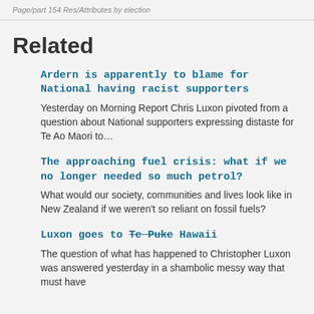Page/part 154 Res/Attributes by election
Related
Ardern is apparently to blame for National having racist supporters
Yesterday on Morning Report Chris Luxon pivoted from a question about National supporters expressing distaste for Te Ao Maori to…
The approaching fuel crisis: what if we no longer needed so much petrol?
What would our society, communities and lives look like in New Zealand if we weren't so reliant on fossil fuels?
Luxon goes to Te Puke Hawaii
The question of what has happened to Christopher Luxon was answered yesterday in a shambolic messy way that must have